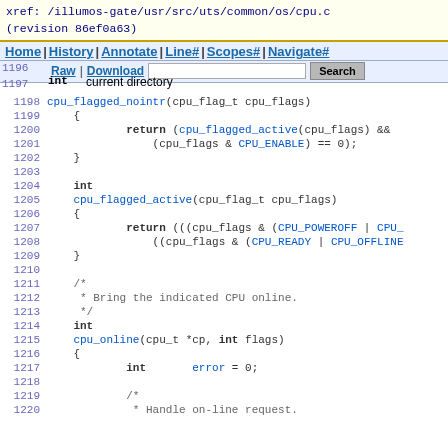xref: /illumos-gate/usr/src/uts/common/os/cpu.c
(revision 86ef0a63)
[Figure (screenshot): Navigation bar with links: Home | History | Annotate | Line# | Scopes# | Navigate#, and second row with line numbers 1196, Raw | Download, search box, Search button, int, current directory]
1198	cpu_flagged_nointr(cpu_flag_t cpu_flags)
1199	{
1200		return (cpu_flagged_active(cpu_flags) &&
1201			(cpu_flags & CPU_ENABLE) == 0);
1202	}
1203
1204	int
1205	cpu_flagged_active(cpu_flag_t cpu_flags)
1206	{
1207		return (((cpu_flags & (CPU_POWEROFF | CPU_
1208			((cpu_flags & (CPU_READY | CPU_OFFLINE
1209	}
1210
1211	/*
1212	 * Bring the indicated CPU online.
1213	 */
1214	int
1215	cpu_online(cpu_t *cp, int flags)
1216	{
1217		int	error = 0;
1218
1219		/*
1220		 * Handle on-line request.